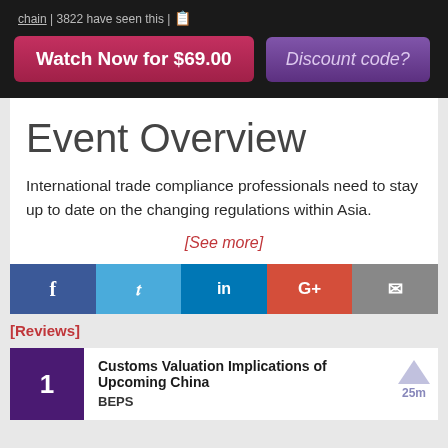chain | 3822 have seen this |
Watch Now for $69.00
Discount code?
Event Overview
International trade compliance professionals need to stay up to date on the changing regulations within Asia.
[See more]
[Figure (infographic): Social sharing bar with Facebook, Twitter, LinkedIn, Google+, and email icons]
[Reviews]
1  Customs Valuation Implications of Upcoming China  BEPS  25m